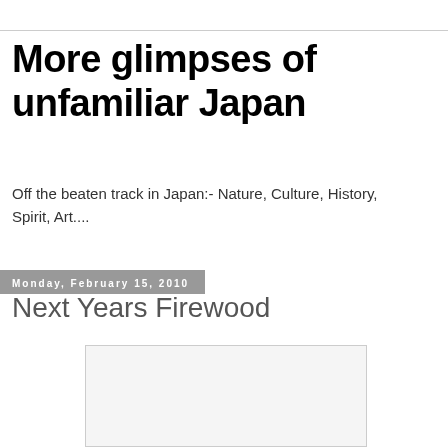More glimpses of unfamiliar Japan
Off the beaten track in Japan:- Nature, Culture, History, Spirit, Art....
Monday, February 15, 2010
Next Years Firewood
[Figure (photo): Blank/placeholder image area]